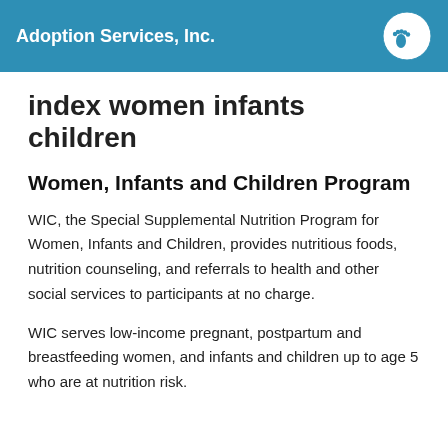Adoption Services, Inc.
index women infants children
Women, Infants and Children Program
WIC, the Special Supplemental Nutrition Program for Women, Infants and Children, provides nutritious foods, nutrition counseling, and referrals to health and other social services to participants at no charge.
WIC serves low-income pregnant, postpartum and breastfeeding women, and infants and children up to age 5 who are at nutrition risk.